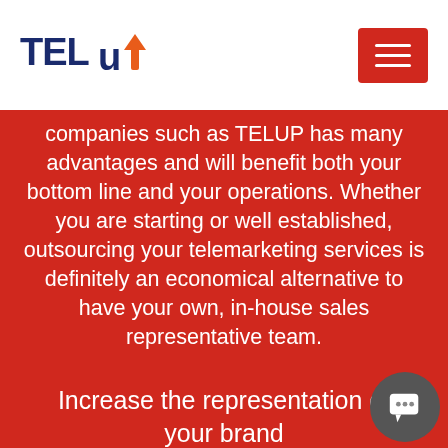[Figure (logo): TELUP logo with dark blue TEL text and orange arrow replacing the letter P in UP]
companies such as TELUP has many advantages and will benefit both your bottom line and your operations. Whether you are starting or well established, outsourcing your telemarketing services is definitely an economical alternative to have your own, in-house sales representative team.
Increase the representation of your brand
Make sure that your brand image